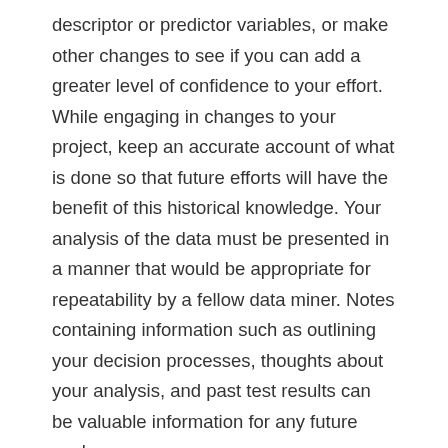descriptor or predictor variables, or make other changes to see if you can add a greater level of confidence to your effort. While engaging in changes to your project, keep an accurate account of what is done so that future efforts will have the benefit of this historical knowledge. Your analysis of the data must be presented in a manner that would be appropriate for repeatability by a fellow data miner. Notes containing information such as outlining your decision processes, thoughts about your analysis, and past test results can be valuable information for any future work.
Background
As you come to the evaluation phase, you will place a greater focus on the examination of the model under the lens of the business problem. Earlier, you reviewed the data for its accuracy and relevancy to the model, but here your interest is